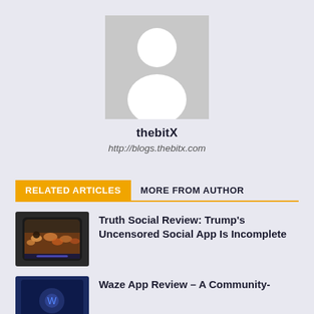[Figure (illustration): Default user avatar placeholder — grey square background with white silhouette of a person (head circle and body/shoulders shape)]
thebitX
http://blogs.thebitx.com
RELATED ARTICLES   MORE FROM AUTHOR
[Figure (screenshot): Thumbnail image of a smartphone showing the Truth Social app with a crowd scene]
Truth Social Review: Trump's Uncensored Social App Is Incomplete
[Figure (screenshot): Thumbnail image showing what appears to be the Waze app on a dark blue background]
Waze App Review – A Community-